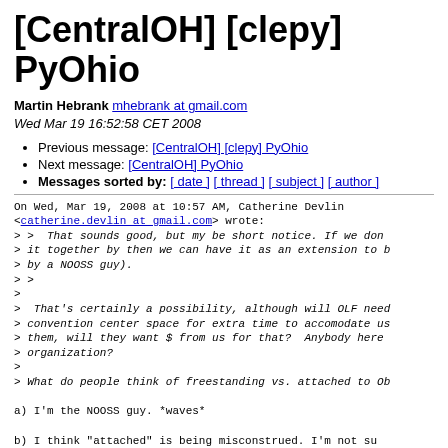[CentralOH] [clepy] PyOhio
Martin Hebrank mhebrank at gmail.com
Wed Mar 19 16:52:58 CET 2008
Previous message: [CentralOH] [clepy] PyOhio
Next message: [CentralOH] PyOhio
Messages sorted by: [ date ] [ thread ] [ subject ] [ author ]
On Wed, Mar 19, 2008 at 10:57 AM, Catherine Devlin
<catherine.devlin at gmail.com> wrote:
> >  That sounds good, but my be short notice. If we don
> it together by then we can have it as an extension to b
> by a NOOSS guy).
> >
>
>  That's certainly a possibility, although will OLF need
> convention center space for extra time to accomodate us
> them, will they want $ from us for that?  Anybody here
> organization?
>
> What do people think of freestanding vs. attached to Ob

a) I'm the NOOSS guy. *waves*

b) I think "attached" is being misconstrued. I'm not su